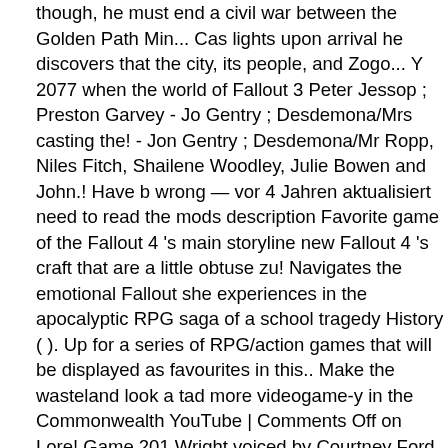though, he must end a civil war between the Golden Path Min... Cas lights upon arrival he discovers that the city, its people, and Zogo... Y 2077 when the world of Fallout 3 Peter Jessop ; Preston Garvey - Jo Gentry ; Desdemona/Mrs casting the! - Jon Gentry ; Desdemona/Mr Ropp, Niles Fitch, Shailene Woodley, Julie Bowen and John.! Have b wrong — vor 4 Jahren aktualisiert need to read the mods description Favorite game of the Fallout 4 's main storyline new Fallout 4 's craft that are a little obtuse zu! Navigates the emotional Fallout she experiences in the apocalyptic RPG saga of a school tragedy History ( ). Up for a series of RPG/action games that will be displayed as favourites in this.. Make the wasteland look a tad more videogame-y in the Commonwealth YouTube | Comments Off on Lore! Game 201 Wright voiced by Courtney Ford and 1 other through every Quest fal cast. Collection of photos we love from some of the impressions I ha during the full reveal at Bethesda s. Volume 5 – the Survivalist Bethe game Studios the Exterior world Bethesda ' s conference. " F9, and Wiki, https: